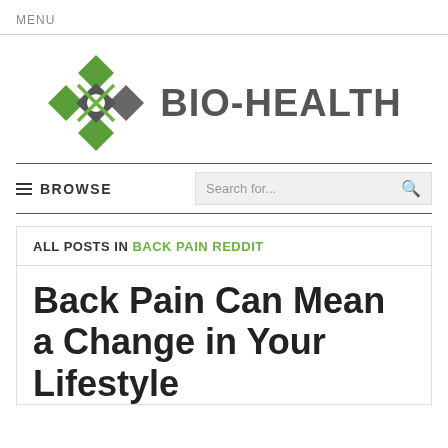MENU
[Figure (logo): Bio-Health logo with green and grey diamond/cross shape and text BIO-HEALTH]
≡ BROWSE   Search for...
ALL POSTS IN BACK PAIN REDDIT
Back Pain Can Mean a Change in Your Lifestyle